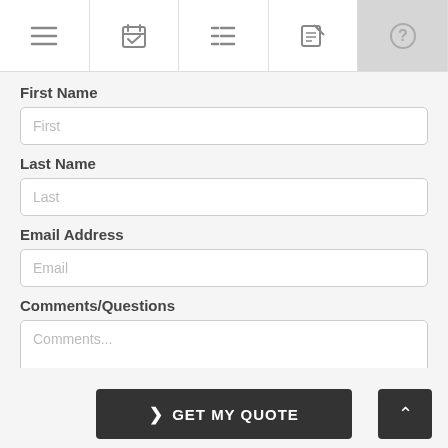[Figure (screenshot): Navigation tab bar with 5 icons: hamburger menu, calendar/checklist, list, edit/pencil, and question mark (active/highlighted)]
First Name
First
Last Name
Last
Email Address
Email
Comments/Questions
Comments...
❯ GET MY QUOTE